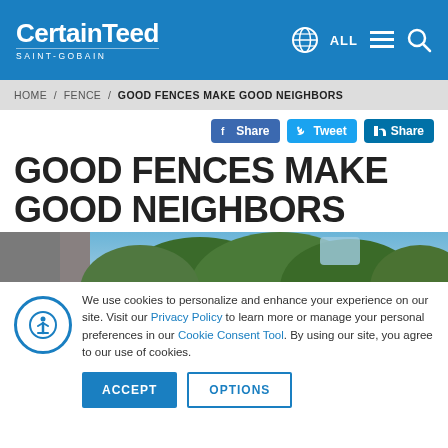CertainTeed SAINT-GOBAIN | ALL [menu] [search]
HOME / FENCE / GOOD FENCES MAKE GOOD NEIGHBORS
Share | Tweet | Share
GOOD FENCES MAKE GOOD NEIGHBORS
[Figure (photo): Outdoor scene showing a fence with trees and blue sky in the background]
We use cookies to personalize and enhance your experience on our site. Visit our Privacy Policy to learn more or manage your personal preferences in our Cookie Consent Tool. By using our site, you agree to our use of cookies.
ACCEPT | OPTIONS